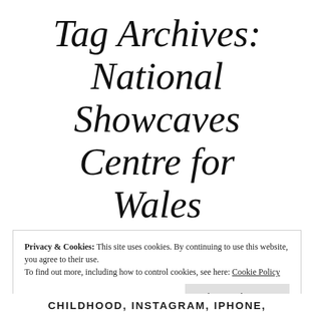Tag Archives: National Showcaves Centre for Wales
Privacy & Cookies: This site uses cookies. By continuing to use this website, you agree to their use.
To find out more, including how to control cookies, see here: Cookie Policy
Close and accept
CHILDHOOD, INSTAGRAM, IPHONE,